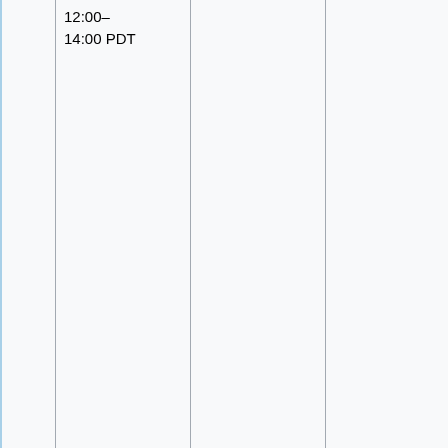|  | Time | Topic | People |
| --- | --- | --- | --- |
|  | 12:00–14:00 PDT |  |  |
|  | 20:00–21:00 UTC # 13:00–14:00 PDT | Services – Parsoid / OCG / Citoid / Mobileapps / ... | Gabriel (gwick) C.Scott (cscot) Arlo (arlolra) Subbu (subbu) Bernd (bearND) Michael (mdholloway) |
|  | 23:00– | Roan (RoanKattouw) |  |